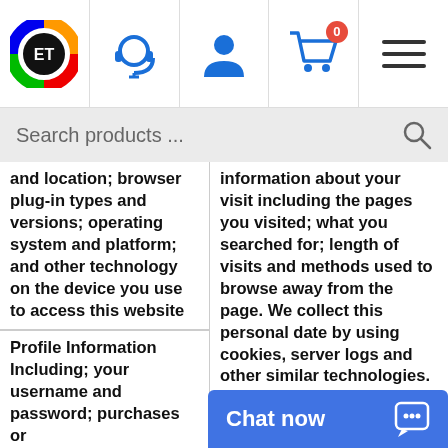[Figure (logo): Colorful circular logo with 'ET' text in center]
[Figure (illustration): Headset/support icon]
[Figure (illustration): Person/user icon]
[Figure (illustration): Shopping cart icon with badge showing 0]
[Figure (illustration): Hamburger menu icon]
Search products ...
and location; browser plug-in types and versions; operating system and platform; and other technology on the device you use to access this website
information about your visit including the pages you visited; what you searched for; length of visits and methods used to browse away from the page. We collect this personal date by using cookies, server logs and other similar technologies. We may also receive
Profile Information Including; your username and password; purchases or
Chat now